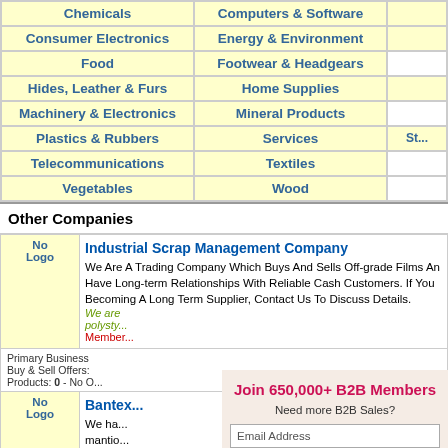| Col1 | Col2 | Col3 |
| --- | --- | --- |
| Chemicals | Computers & Software |  |
| Consumer Electronics | Energy & Environment |  |
| Food | Footwear & Headgears |  |
| Hides, Leather & Furs | Home Supplies |  |
| Machinery & Electronics | Mineral Products |  |
| Plastics & Rubbers | Services | St... |
| Telecommunications | Textiles |  |
| Vegetables | Wood |  |
Other Companies
| Logo | Company Info |
| --- | --- |
| No Logo | Industrial Scrap Management Company
We Are A Trading Company Which Buys And Sells Off-grade Films An... Have Long-term Relationships With Reliable Cash Customers. If You Becoming A Long Term Supplier, Contact Us To Discuss Details.
We are polysty...
Member... |
| Primary Business | Buy & Sell Offers:
Products: 0 - No O... |
| No Logo | Bantex...
We ha... mantio... market...
We are... 45-50k...
Member... |
| Primary Business | Buy & Sell Offers: |
[Figure (infographic): Join 650,000+ B2B Members signup overlay with email input and Get More B2B Sales button]